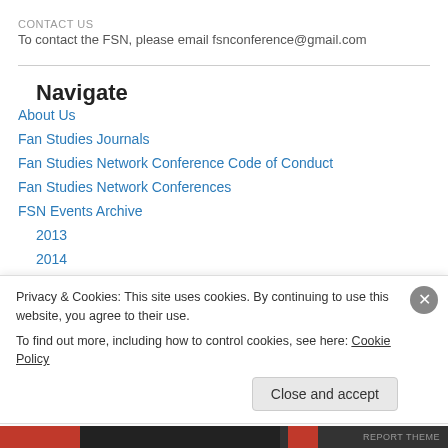CONTACT US
To contact the FSN, please email fsnconference@gmail.com
Navigate
About Us
Fan Studies Journals
Fan Studies Network Conference Code of Conduct
Fan Studies Network Conferences
FSN Events Archive
2013
2014
Privacy & Cookies: This site uses cookies. By continuing to use this website, you agree to their use.
To find out more, including how to control cookies, see here: Cookie Policy
Close and accept